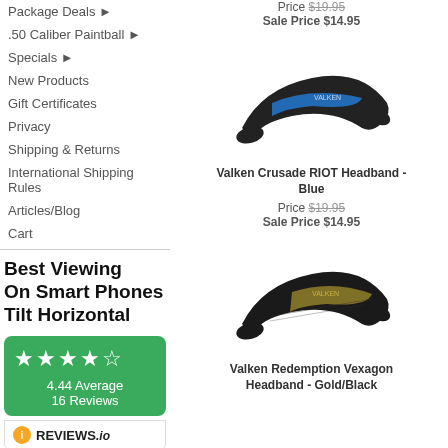Package Deals ►
.50 Caliber Paintball ►
Specials ►
New Products
Gift Certificates
Privacy
Shipping & Returns
International Shipping Rules
Articles/Blog
Cart
Best Viewing On Smart Phones Tilt Horizontal
[Figure (infographic): Green rating box showing 4.44 average, 16 Reviews with star rating and Reviews.io badge]
Price $19.95
Sale Price $14.95
[Figure (photo): Valken Crusade RIOT Headband in Blue - black and blue headband product photo]
Valken Crusade RIOT Headband - Blue
Price $19.95
Sale Price $14.95
[Figure (photo): Valken Redemption Vexagon Headband in Gold/Black - black and gold headband product photo]
Valken Redemption Vexagon Headband - Gold/Black